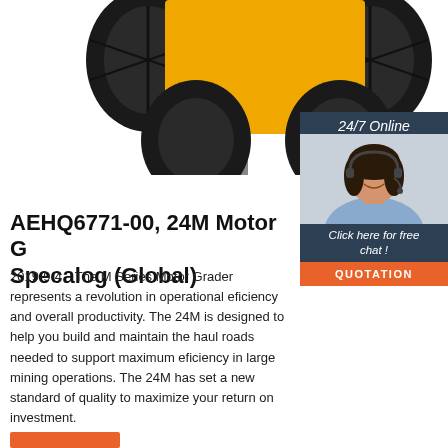[Figure (photo): Front view of a yellow motor grader/forklift machine showing large black tires, yellow body frame, and grey metal forks/blade at the bottom against a white background.]
[Figure (photo): Chat widget overlay on right side: dark navy background with '24/7 Online' header, photo of a smiling woman with headset (customer service representative), 'Click here for free chat!' text, and an orange 'QUOTATION' button.]
AEHQ6771-00, 24M Motor Grader Specalog (Global)
2019-9-4  The M Series Motor Grader represents a revolution in operational eficiency and overall productivity. The 24M is designed to help you build and maintain the haul roads needed to support maximum eficiency in large mining operations. The 24M has set a new standard of quality to maximize your return on investment.